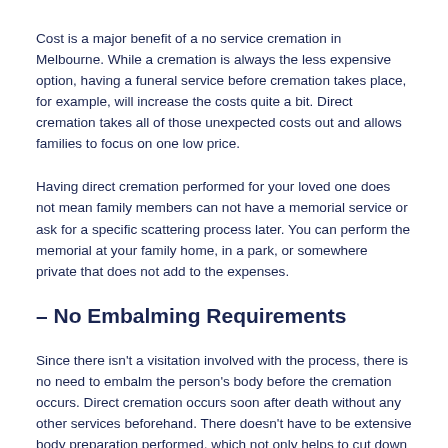Cost is a major benefit of a no service cremation in Melbourne. While a cremation is always the less expensive option, having a funeral service before cremation takes place, for example, will increase the costs quite a bit. Direct cremation takes all of those unexpected costs out and allows families to focus on one low price.
Having direct cremation performed for your loved one does not mean family members can not have a memorial service or ask for a specific scattering process later. You can perform the memorial at your family home, in a park, or somewhere private that does not add to the expenses.
– No Embalming Requirements
Since there isn't a visitation involved with the process, there is no need to embalm the person's body before the cremation occurs. Direct cremation occurs soon after death without any other services beforehand. There doesn't have to be extensive body preparation performed, which not only helps to cut down the costs but also allows family members to remember their loved one in